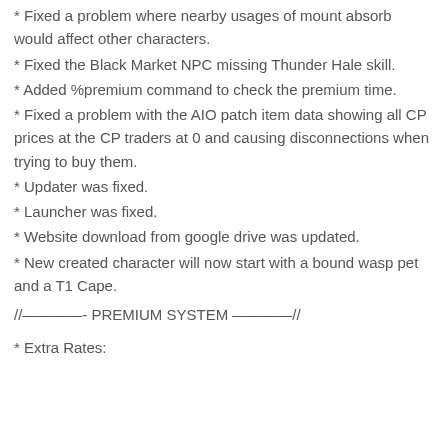* Fixed a problem where nearby usages of mount absorb would affect other characters.
* Fixed the Black Market NPC missing Thunder Hale skill.
* Added %premium command to check the premium time.
* Fixed a problem with the AIO patch item data showing all CP prices at the CP traders at 0 and causing disconnections when trying to buy them.
* Updater was fixed.
* Launcher was fixed.
* Website download from google drive was updated.
* New created character will now start with a bound wasp pet and a T1 Cape.
//————- PREMIUM SYSTEM ————//
* Extra Rates: